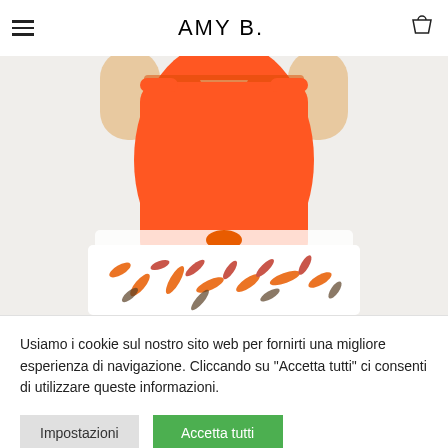AMY B.
[Figure (photo): Fashion model wearing an orange sleeveless top with V-neck and a white/orange tropical leaf print skirt with a tied waist]
Usiamo i cookie sul nostro sito web per fornirti una migliore esperienza di navigazione. Cliccando su "Accetta tutti" ci consenti di utilizzare queste informazioni.
Impostazioni
Accetta tutti